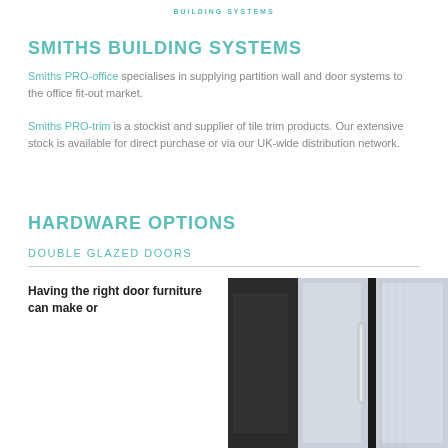BUILDING SYSTEMS
SMITHS BUILDING SYSTEMS
Smiths PRO-office specialises in supplying partition wall and door systems to the office fit-out market.
Smiths PRO-trim is a stockist and supplier of tile trim products. Our extensive stock is available for direct purchase or via our UK-wide distribution network.
HARDWARE OPTIONS
DOUBLE GLAZED DOORS
Having the right door furniture can make or
[Figure (photo): Photo of a double glazed door with chrome handle and frosted/clear glass panels]